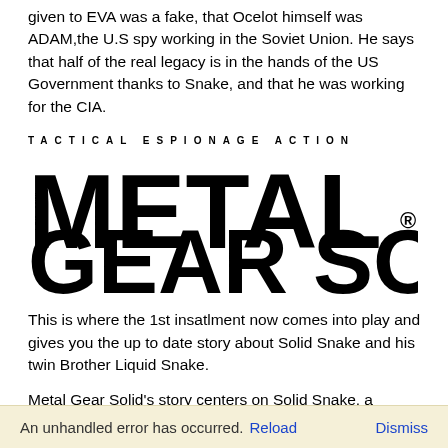given to EVA was a fake, that Ocelot himself was ADAM,the U.S spy working in the Soviet Union. He says that half of the real legacy is in the hands of the US Government thanks to Snake, and that he was working for the CIA.
[Figure (logo): Metal Gear Solid logo with 'TACTICAL ESPIONAGE ACTION' text above large bold 'METAL GEAR SOLID' lettering with registered trademark symbol]
This is where the 1st insatlment now comes into play and gives you the up to date story about Solid Snake and his twin Brother Liquid Snake.
Metal Gear Solid's story centers on Solid Snake, a retired soldier who infiltrates a nuclear weapons disposal facility to neutralize the terrorist threat from FOXHOUND, a
An unhandled error has occurred. Reload   Dismiss